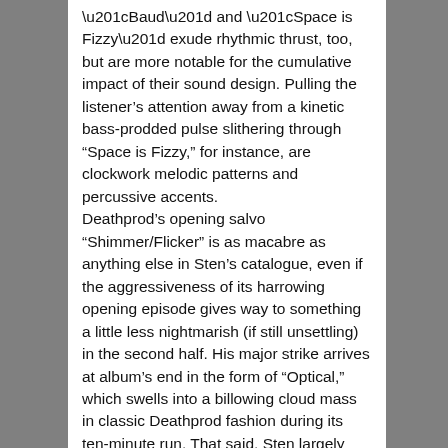“Baud” and “Space is Fizzy” exude rhythmic thrust, too, but are more notable for the cumulative impact of their sound design. Pulling the listener’s attention away from a kinetic bass-prodded pulse slithering through “Space is Fizzy,” for instance, are clockwork melodic patterns and percussive accents.
Deathprod’s opening salvo “Shimmer/Flicker” is as macabre as anything else in Sten’s catalogue, even if the aggressiveness of its harrowing opening episode gives way to something a little less nightmarish (if still unsettling) in the second half. His major strike arrives at album’s end in the form of “Optical,” which swells into a billowing cloud mass in classic Deathprod fashion during its ten-minute run. That said, Sten largely hews to the quieter side of the sonic realm in his pieces without sacrificing anything in the way of atmospheric suggestiveness.